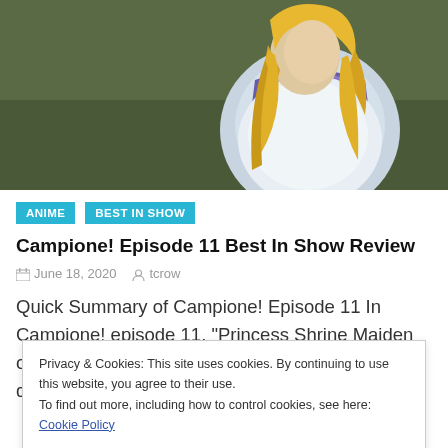[Figure (illustration): Anime character screenshot showing a blonde female figure in a white and purple outfit, viewed from behind/side, against a dark olive green background]
ANIME
BEST IN SHOW
Campione! Episode 11 Best In Show Review
June 18, 2020   tcrow
Quick Summary of Campione! Episode 11 In Campione! episode 11, “Princess Shrine Maiden of the Long Sword,” there was what looked like a quiet period of peace for Team
Privacy & Cookies: This site uses cookies. By continuing to use this website, you agree to their use.
To find out more, including how to control cookies, see here: Cookie Policy
Close and accept